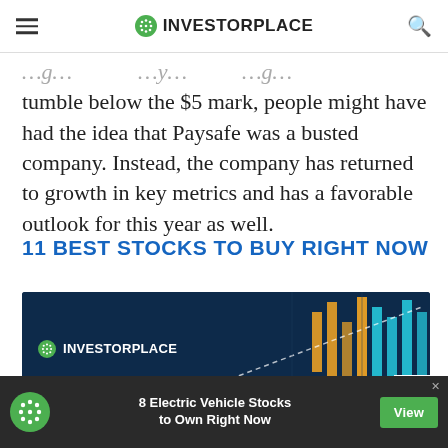INVESTORPLACE
tumble below the $5 mark, people might have had the idea that Paysafe was a busted company. Instead, the company has returned to growth in key metrics and has a favorable outlook for this year as well.
11 BEST STOCKS TO BUY RIGHT NOW
[Figure (screenshot): InvestorPlace advertisement banner showing a stock market candlestick chart with a dark blue background and the InvestorPlace logo]
[Figure (infographic): Bottom advertisement banner: '8 Electric Vehicle Stocks to Own Right Now' with a View button and InvestorPlace logo on dark background]